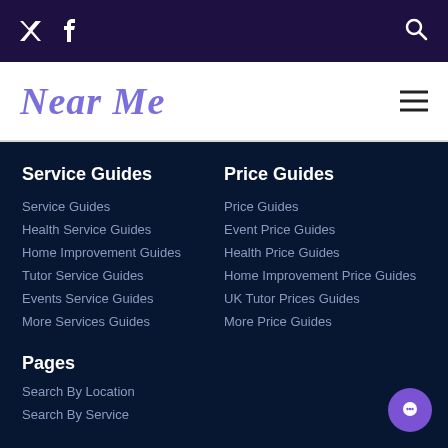Near Me - Social icons: Twitter, Facebook, Search
Near Me
Service Guides
Service Guides
Health Service Guides
Home Improvement Guides
Tutor Service Guides
Events Service Guides
More Services Guides
Price Guides
Price Guides
Event Price Guides
Health Price Guides
Home Improvement Price Guides
UK Tutor Prices Guides
More Price Guides
Pages
Search By Location
Search By Service